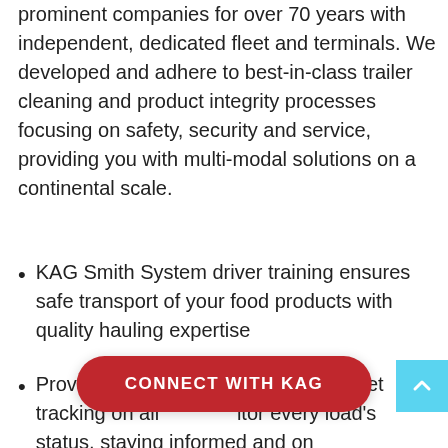prominent companies for over 70 years with independent, dedicated fleet and terminals. We developed and adhere to best-in-class trailer cleaning and product integrity processes focusing on safety, security and service, providing you with multi-modal solutions on a continental scale.
KAG Smith System driver training ensures safe transport of your food products with quality hauling expertise
Provide advanced Omnitracs GPS fleet tracking on all                            itor every load's status, staying informed and on